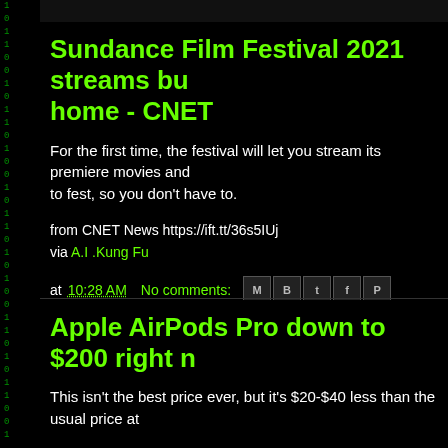Sundance Film Festival 2021 streams bu home - CNET
For the first time, the festival will let you stream its premiere movies and to fest, so you don't have to.
from CNET News https://ift.tt/36s5IUj
via A.I .Kung Fu
at 10:28 AM   No comments:
Labels: CNET News
Apple AirPods Pro down to $200 right n
This isn't the best price ever, but it's $20-$40 less than the usual price at
from CNET News https://ift.tt/2L4754j
via A.I .Kung Fu
at 9:28 AM   No comments: